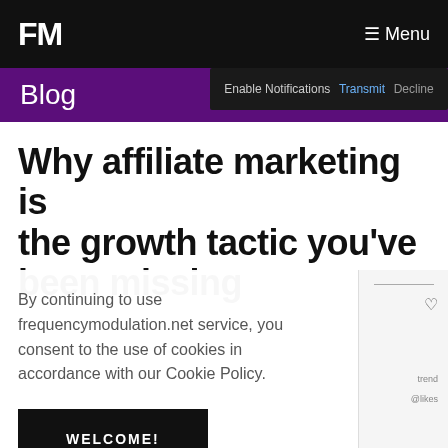FM  Menu
Enable Notifications  Transmit  Decline
Blog
Why affiliate marketing is the growth tactic you've been missing
By continuing to use frequencymodulation.net service, you consent to the use of cookies in accordance with our Cookie Policy.
WELCOME!